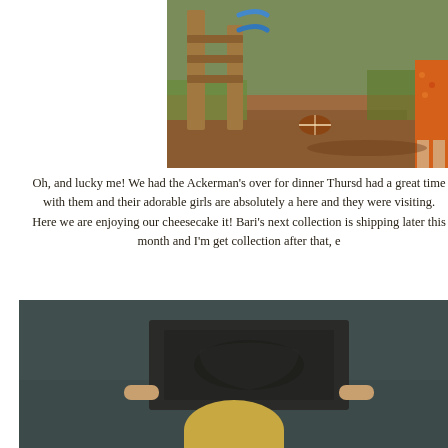[Figure (photo): Outdoor photo showing a wooden playground structure with blue handles/bars, muddy ground, a football on the ground, green vegetation, and a child partially visible on the right edge wearing an orange/floral dress.]
Oh, and lucky me!  We had the Ackerman's over for dinner Thursd had a great time with them and their adorable girls are absolutely a here and they were visiting.   Here we are enjoying our cheesecake it!  Bari's next collection is shipping later this month and I'm get collection after that, e
[Figure (photo): Indoor photo of a person holding up what appears to be a dark-colored item or sign, with a dark teal/grey background wall visible. The person's head with blonde/light hair is visible at the bottom.]